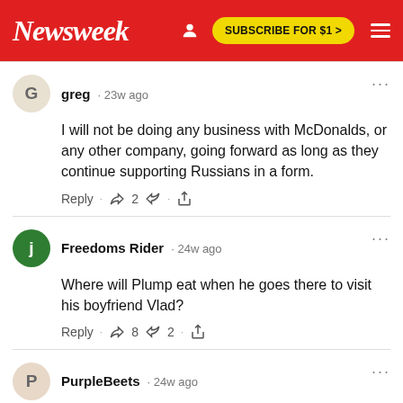Newsweek | SUBSCRIBE FOR $1 >
greg · 23w ago
I will not be doing any business with McDonalds, or any other company, going forward as long as they continue supporting Russians in a form.
Reply · 👍 2 👎 · share
Freedoms Rider · 24w ago
Where will Plump eat when he goes there to visit his boyfriend Vlad?
Reply · 👍 8 👎 2 · share
PurpleBeets · 24w ago
Congress can now spread propaganda for Mega-corps legally since the Obama era.  I could see this